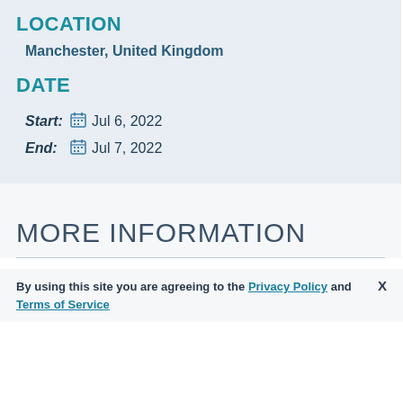LOCATION
Manchester, United Kingdom
DATE
Start: Jul 6, 2022
End: Jul 7, 2022
MORE INFORMATION
By using this site you are agreeing to the Privacy Policy and Terms of Service